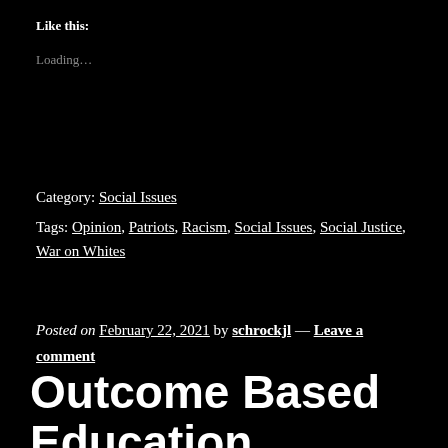Like this:
Loading…
Category: Social Issues
Tags: Opinion, Patriots, Racism, Social Issues, Social Justice, War on Whites
Posted on February 22, 2021 by schrockjl — Leave a comment
Outcome Based Education Results